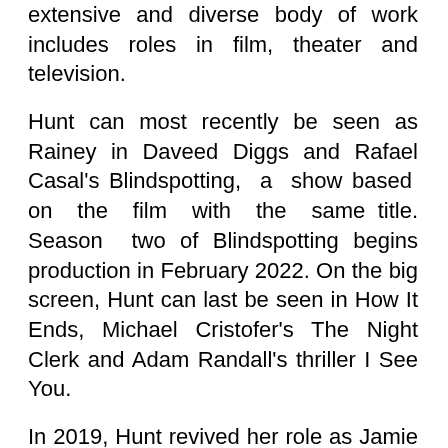extensive and diverse body of work includes roles in film, theater and television.
Hunt can most recently be seen as Rainey in Daveed Diggs and Rafael Casal's Blindspotting, a show based on the film with the same title. Season two of Blindspotting begins production in February 2022. On the big screen, Hunt can last be seen in How It Ends, Michael Cristofer's The Night Clerk and Adam Randall's thriller I See You.
In 2019, Hunt revived her role as Jamie Buchman for another season of the hit show Mad About You opposite Paul Reiser. The show returned as a limited series on Spectrum Originals, with all